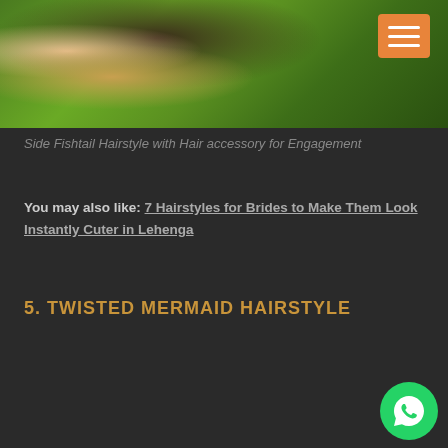[Figure (photo): Woman in green embroidered saree/blouse with floral decoration, back view showing hairstyle with hair accessory]
Side Fishtail Hairstyle with Hair accessory for Engagement
You may also like: 7 Hairstyles for Brides to Make Them Look Instantly Cuter in Lehenga
5. TWISTED MERMAID HAIRSTYLE
[Figure (photo): Woman with twisted mermaid hairstyle, dark hair with golden flower accessories, with WhatsApp inquiry button overlay]